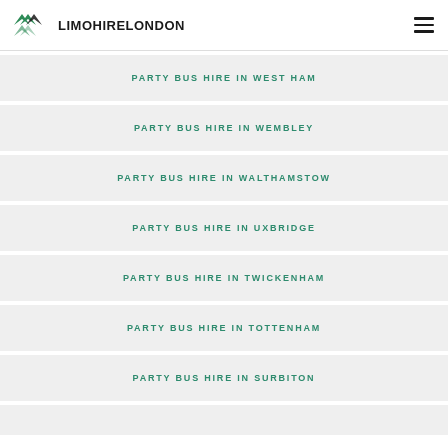LIMOHIRELONDON
PARTY BUS HIRE IN WEST HAM
PARTY BUS HIRE IN WEMBLEY
PARTY BUS HIRE IN WALTHAMSTOW
PARTY BUS HIRE IN UXBRIDGE
PARTY BUS HIRE IN TWICKENHAM
PARTY BUS HIRE IN TOTTENHAM
PARTY BUS HIRE IN SURBITON